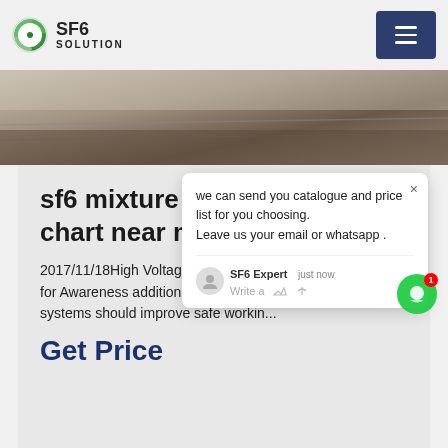SF6 SOLUTION
[Figure (photo): A photo of industrial floor or surface with lines, brownish tones]
sf6 mixture environmental chart near me
2017/11/18High Voltage Safety and Gear(HV) Course is for Awareness additional safety precautions associated systems should improve safe workin...
Get Price
[Figure (screenshot): Chat popup overlay: 'we can send you catalogue and price list for you choosing. Leave us your email or whatsapp . SF6 Expert just now Write a']
[Figure (photo): Bottom strip image, partial view of outdoor/industrial scene]